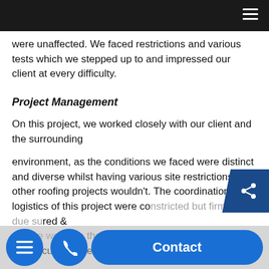were unaffected. We faced restrictions and various tests which we stepped up to and impressed our client at every difficulty.
Project Management
On this project, we worked closely with our client and the surrounding environment, as the conditions we faced were distinct and diverse whilst having various site restrictions that other roofing projects wouldn't. The coordination & logistics of this project were constricted but firm management, due diligence & ensure we have the client taking current site conditions and environmental